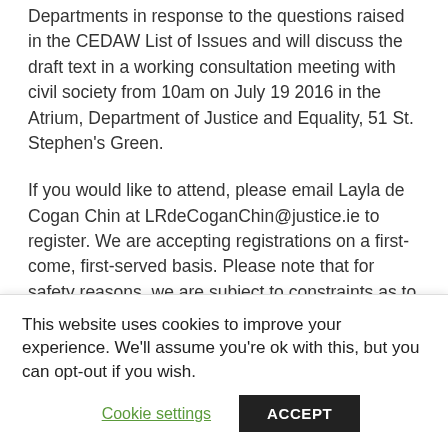We have gathered information across Government Departments in response to the questions raised in the CEDAW List of Issues and will discuss the draft text in a working consultation meeting with civil society from 10am on July 19 2016 in the Atrium, Department of Justice and Equality, 51 St. Stephen's Green.
If you would like to attend, please email Layla de Cogan Chin at LRdeCoganChin@justice.ie to register. We are accepting registrations on a first-come, first-served basis. Please note that for safety reasons, we are subject to constraints as to the number of people
This website uses cookies to improve your experience. We'll assume you're ok with this, but you can opt-out if you wish.
Cookie settings | ACCEPT